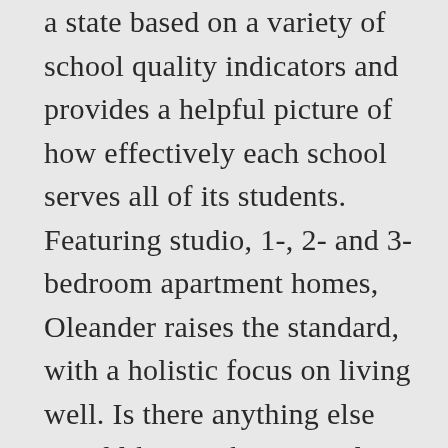a state based on a variety of school quality indicators and provides a helpful picture of how effectively each school serves all of its students. Featuring studio, 1-, 2- and 3-bedroom apartment homes, Oleander raises the standard, with a holistic focus on living well. Is there anything else you'd like to ask 1570 Sylvan Rd? New High Rise Apartments in Buckhead, Atlanta. Mixed-Use; Midrise and 5-Story Wrap. Take an aerial tour of Osprey construction site. Use my current location. Check availability! HOT 193 units rented in the past 2 weeks. COOL & COMPOSED LUXURY APARTMENTS IN WEST MIDTOWN ATLANTA. 1. Apartments Near Portland, Oregon with Waterfront Views. Our luxury